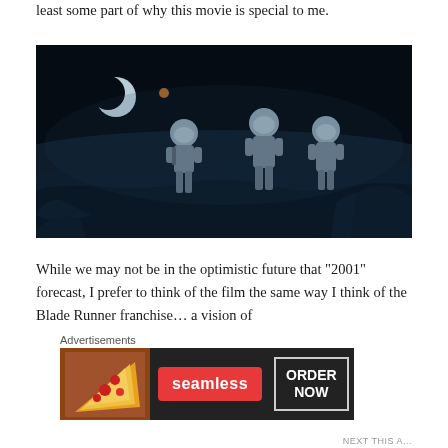least some part of why this movie is special to me.
[Figure (photo): A dark, blue-tinted scene from the movie 2001: A Space Odyssey showing three astronauts in spacesuits standing on the lunar surface. A crescent moon/Earth is visible in the upper left of the dark sky.]
While we may not be in the optimistic future that "2001" forecast, I prefer to think of the film the same way I think of the Blade Runner franchise... a vision of
Advertisements
[Figure (screenshot): Seamless food delivery advertisement banner showing pizza on left, a red Seamless logo button in center, and an ORDER NOW button on the right, on dark background.]